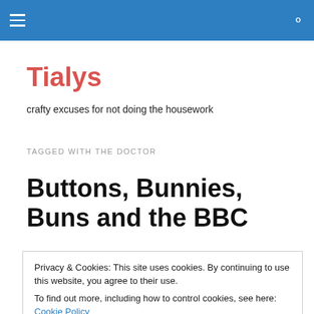Tialys [navigation header bar with hamburger menu and search icon]
Tialys
crafty excuses for not doing the housework
TAGGED WITH THE DOCTOR
Buttons, Bunnies, Buns and the BBC
Privacy & Cookies: This site uses cookies. By continuing to use this website, you agree to their use.
To find out more, including how to control cookies, see here: Cookie Policy
Close and accept
was on such a rummage and found this tin which, in itself